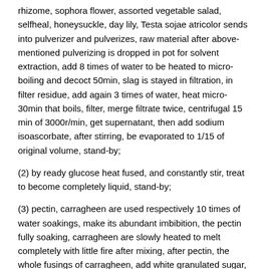rhizome, sophora flower, assorted vegetable salad, selfheal, honeysuckle, day lily, Testa sojae atricolor sends into pulverizer and pulverizes, raw material after above-mentioned pulverizing is dropped in pot for solvent extraction, add 8 times of water to be heated to micro-boiling and decoct 50min, slag is stayed in filtration, in filter residue, add again 3 times of water, heat micro-30min that boils, filter, merge filtrate twice, centrifugal 15 min of 3000r/min, get supernatant, then add sodium isoascorbate, after stirring, be evaporated to 1/15 of original volume, stand-by;
(2) by ready glucose heat fused, and constantly stir, treat to become completely liquid, stand-by;
(3) pectin, carragheen are used respectively 10 times of water soakings, make its abundant imbibition, the pectin fully soaking, carragheen are slowly heated to melt completely with little fire after mixing, after pectin, the whole fusings of carragheen, add white granulated sugar, continue the enduring of heating, after white granulated sugar melts completely, then add liquid glucose, while pour into, stir, temperature is controlled at 115 °C, when liquid